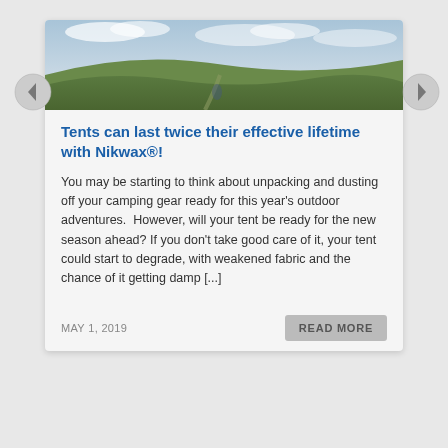[Figure (photo): Landscape photo of rolling green hills with a track/path, under a cloudy sky, used as a card header image]
Tents can last twice their effective lifetime with Nikwax®!
You may be starting to think about unpacking and dusting off your camping gear ready for this year's outdoor adventures.  However, will your tent be ready for the new season ahead? If you don't take good care of it, your tent could start to degrade, with weakened fabric and the chance of it getting damp [...]
MAY 1, 2019
READ MORE